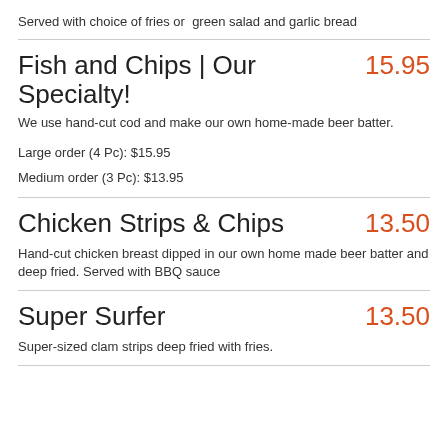Served with choice of fries or  green salad and garlic bread
Fish and Chips | Our Specialty!
15.95
We use hand-cut cod and make our own home-made beer batter.
Large order (4 Pc): $15.95
Medium order (3 Pc): $13.95
Chicken Strips & Chips
13.50
Hand-cut chicken breast dipped in our own home made beer batter and deep fried. Served with BBQ sauce
Super Surfer
13.50
Super-sized clam strips deep fried with fries.